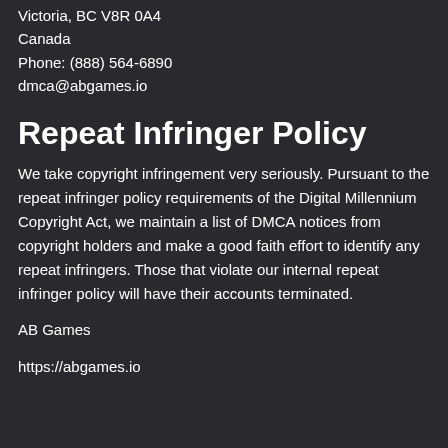Victoria, BC V8R 0A4
Canada
Phone: (888) 564-6890
dmca@abgames.io
Repeat Infringer Policy
We take copyright infringement very seriously. Pursuant to the repeat infringer policy requirements of the Digital Millennium Copyright Act, we maintain a list of DMCA notices from copyright holders and make a good faith effort to identify any repeat infringers. Those that violate our internal repeat infringer policy will have their accounts terminated.
AB Games
https://abgames.io